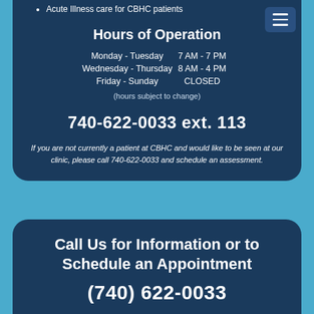Acute Illness care for CBHC patients
Hours of Operation
Monday - Tuesday   7 AM - 7 PM
Wednesday - Thursday   8 AM - 4 PM
Friday - Sunday   CLOSED
(hours subject to change)
740-622-0033 ext. 113
If you are not currently a patient at CBHC and would like to be seen at our clinic, please call 740-622-0033 and schedule an assessment.
Call Us for Information or to Schedule an Appointment
(740) 622-0033